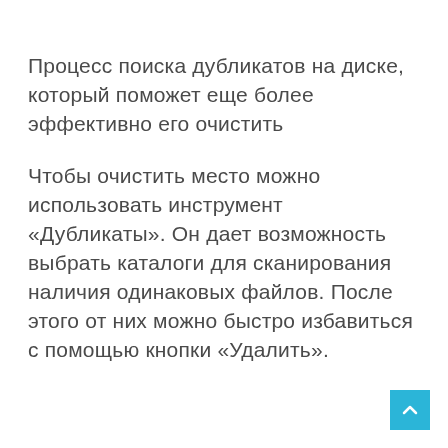Процесс поиска дубликатов на диске, который поможет еще более эффективно его очистить
Чтобы очистить место можно использовать инструмент «Дубликаты». Он дает возможность выбрать каталоги для сканирования наличия одинаковых файлов. После этого от них можно быстро избавиться с помощью кнопки «Удалить».